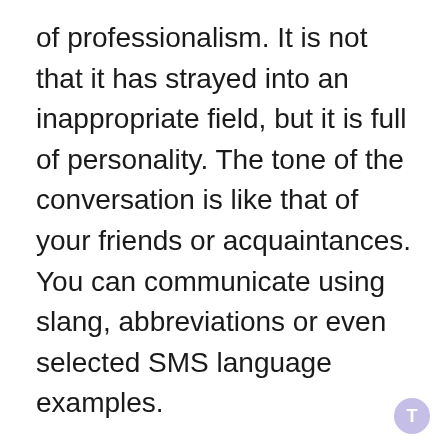of professionalism. It is not that it has strayed into an inappropriate field, but it is full of personality. The tone of the conversation is like that of your friends or acquaintances. You can communicate using slang, abbreviations or even selected SMS language examples.
This tone is usually written in the second person (but can also be written in the first person) and tends to focus on “you”, the reader. It focuses on the reader and makes them feel important. It can also make readers feel as if they have